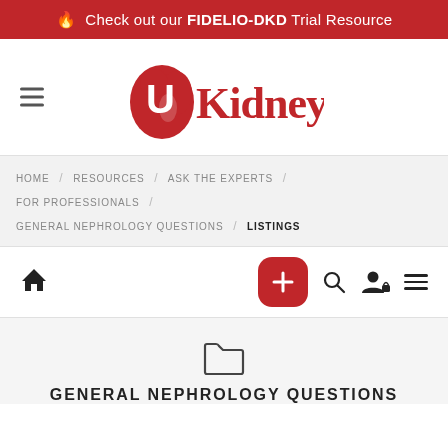🔥 Check out our FIDELIO-DKD Trial Resource
[Figure (logo): UKidney logo — red kidney-shaped blob with white U letter, followed by 'Kidney' in red serif-style text]
HOME / RESOURCES / ASK THE EXPERTS / FOR PROFESSIONALS / GENERAL NEPHROLOGY QUESTIONS / LISTINGS
[Figure (screenshot): Navigation toolbar with home icon, red plus button, search icon, user/lock icon, and hamburger menu icon]
GENERAL NEPHROLOGY QUESTIONS